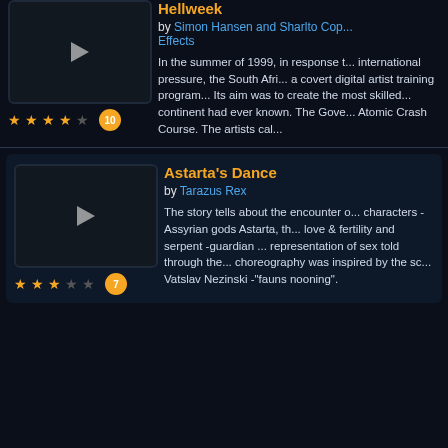Hellweek
by Simon Hansen and Sharlto Cop... Effects
In the summer of 1999, in response t... international pressure, the South Afri... a covert digital artist training program... Its aim was to create the most skilled... continent had ever known. The Gove... Atomic Crash Course. The artists cal...
[Figure (screenshot): Video thumbnail for Hellweek with play button, 4.5 star rating and 10 comments badge]
Astarta's Dance
by Tarazus Rex
The story tells about the encounter o... characters - Assyrian gods Astarta, th... love & fertility and serpent -guardian ... representation of sex told through the... choreography was inspired by the sc... Vatslav Nezinski -"fauns nooning".
[Figure (screenshot): Video thumbnail for Astarta's Dance with play button, 3.5 star rating and 7 comments badge]